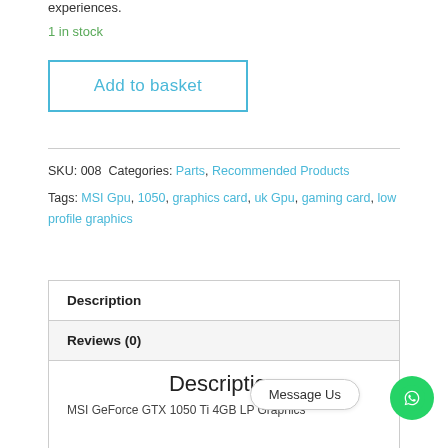experiences.
1 in stock
Add to basket
SKU: 008 Categories: Parts, Recommended Products
Tags: MSI Gpu, 1050, graphics card, uk Gpu, gaming card, low profile graphics
Description
Reviews (0)
Description
MSI GeForce GTX 1050 Ti 4GB LP Graphics